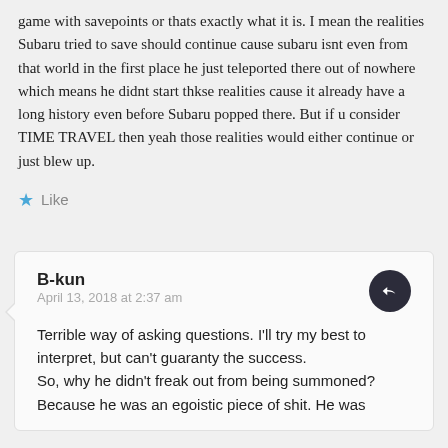game with savepoints or thats exactly what it is. I mean the realities Subaru tried to save should continue cause subaru isnt even from that world in the first place he just teleported there out of nowhere which means he didnt start thkse realities cause it already have a long history even before Subaru popped there. But if u consider TIME TRAVEL then yeah those realities would either continue or just blew up.
Like
B-kun
April 13, 2018 at 2:37 am
Terrible way of asking questions. I'll try my best to interpret, but can't guaranty the success.
So, why he didn't freak out from being summoned?
Because he was an egoistic piece of shit. He was